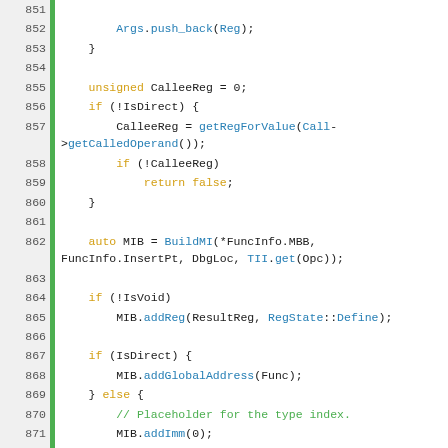[Figure (screenshot): Source code listing in C++ with syntax highlighting, showing lines 852-879 of a WebAssembly backend file. Lines show call lowering logic including push_back, getRegForValue, BuildMI, addReg, addGlobalAddress, addImm, addSym, and getOrCreateFunctionTableSymbol operations.]